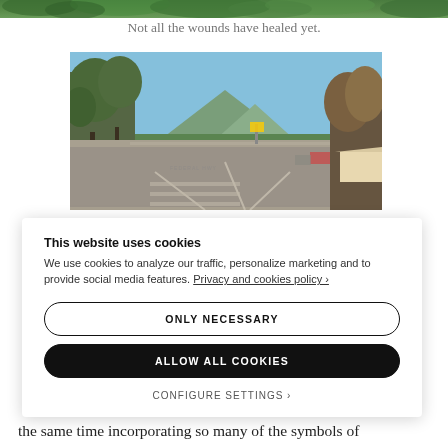[Figure (photo): Cropped top strip showing green tree foliage vegetation]
Not all the wounds have healed yet.
[Figure (photo): Outdoor street scene showing a wide road intersection with trees on the left, a mountain/hill in the background under a clear blue sky, and what appears to be a government building area in the distance. Location appears to be Canberra, Australia.]
This website uses cookies
We use cookies to analyze our traffic, personalize marketing and to provide social media features. Privacy and cookies policy ›
ONLY NECESSARY
ALLOW ALL COOKIES
CONFIGURE SETTINGS ›
the same time incorporating so many of the symbols of